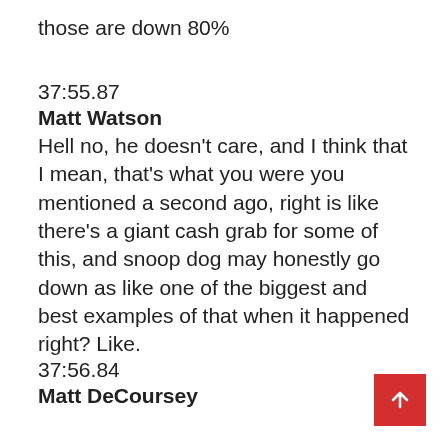those are down 80%
37:55.87
Matt Watson
Hell no, he doesn't care, and I think that I mean, that's what you were you mentioned a second ago, right is like there's a giant cash grab for some of this, and snoop dog may honestly go down as like one of the biggest and best examples of that when it happened right? Like.
37:56.84
Matt DeCoursey